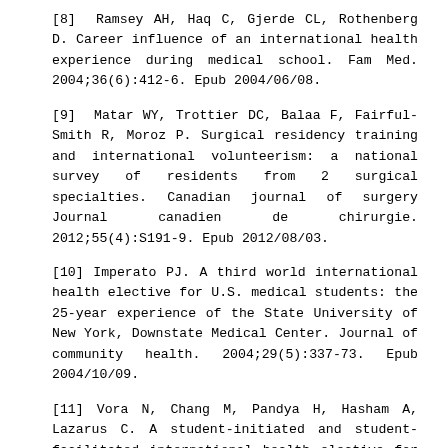[8] Ramsey AH, Haq C, Gjerde CL, Rothenberg D. Career influence of an international health experience during medical school. Fam Med. 2004;36(6):412-6. Epub 2004/06/08.
[9] Matar WY, Trottier DC, Balaa F, Fairful-Smith R, Moroz P. Surgical residency training and international volunteerism: a national survey of residents from 2 surgical specialties. Canadian journal of surgery Journal canadien de chirurgie. 2012;55(4):S191-9. Epub 2012/08/03.
[10] Imperato PJ. A third world international health elective for U.S. medical students: the 25-year experience of the State University of New York, Downstate Medical Center. Journal of community health. 2004;29(5):337-73. Epub 2004/10/09.
[11] Vora N, Chang M, Pandya H, Hasham A, Lazarus C. A student-initiated and student-facilitated international health elective for preclinical medical students. Medical education online. 2010;15. Epub 2010/02/27.
[12] Banatvala N, Doyal L. Knowing when to say "no" on the